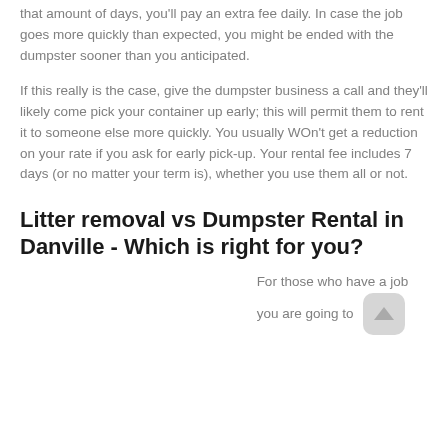that amount of days, you'll pay an extra fee daily. In case the job goes more quickly than expected, you might be ended with the dumpster sooner than you anticipated.
If this really is the case, give the dumpster business a call and they'll likely come pick your container up early; this will permit them to rent it to someone else more quickly. You usually WOn't get a reduction on your rate if you ask for early pick-up. Your rental fee includes 7 days (or no matter your term is), whether you use them all or not.
Litter removal vs Dumpster Rental in Danville - Which is right for you?
For those who have a job you are going to